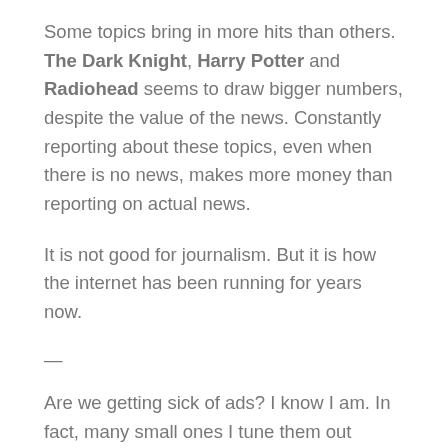Some topics bring in more hits than others. The Dark Knight, Harry Potter and Radiohead seems to draw bigger numbers, despite the value of the news. Constantly reporting about these topics, even when there is no news, makes more money than reporting on actual news.
It is not good for journalism. But it is how the internet has been running for years now.
—
Are we getting sick of ads? I know I am. In fact, many small ones I tune them out completely.
But ignoring them also leads to a worrying slide.